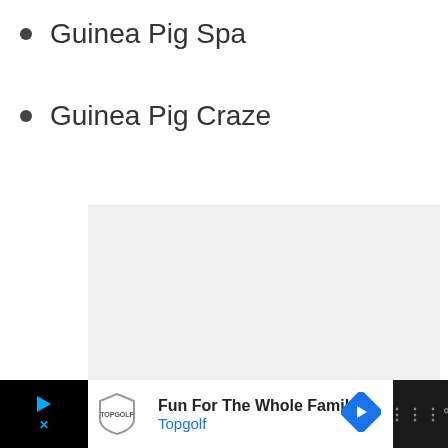Guinea Pig Spa
Guinea Pig Craze
[Figure (other): Light gray placeholder/ad content box with three small dots in the center]
Fun For The Whole Family Topgolf [advertisement banner]